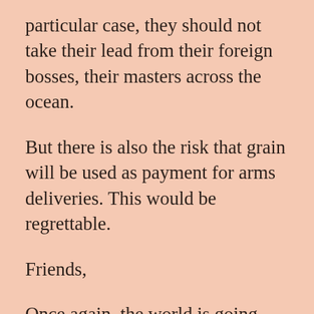particular case, they should not take their lead from their foreign bosses, their masters across the ocean.
But there is also the risk that grain will be used as payment for arms deliveries. This would be regrettable.
Friends,
Once again, the world is going through an era of drastic change. International institutions are breaking down and faltering. Security guarantees are being devalued. The West has made a point of refusing to honour its earlier commitments. It has simply been impossible to